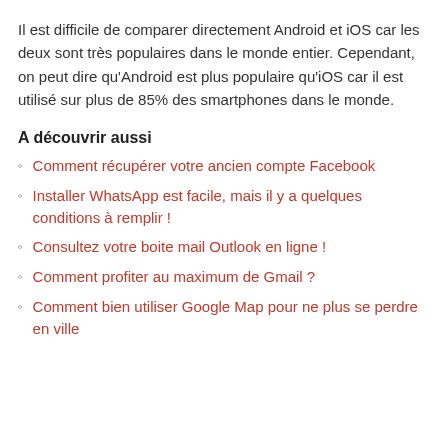Il est difficile de comparer directement Android et iOS car les deux sont très populaires dans le monde entier. Cependant, on peut dire qu'Android est plus populaire qu'iOS car il est utilisé sur plus de 85% des smartphones dans le monde.
A découvrir aussi
Comment récupérer votre ancien compte Facebook
Installer WhatsApp est facile, mais il y a quelques conditions à remplir !
Consultez votre boite mail Outlook en ligne !
Comment profiter au maximum de Gmail ?
Comment bien utiliser Google Map pour ne plus se perdre en ville